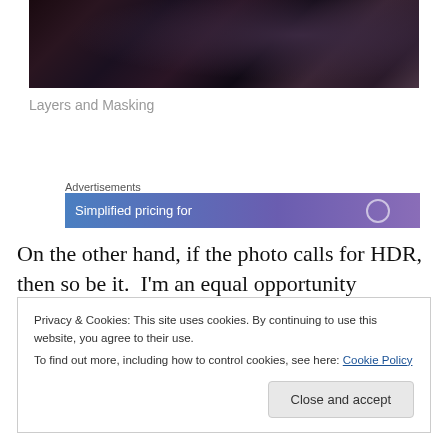[Figure (photo): Dark photograph showing fur/grass texture with rocks, dark tones with purplish hues]
Layers and Masking
Advertisements
[Figure (screenshot): Advertisement banner with blue to purple gradient background showing text 'Simplified pricing for']
On the other hand, if the photo calls for HDR, then so be it.  I'm an equal opportunity photographer!  But that's just
Privacy & Cookies: This site uses cookies. By continuing to use this website, you agree to their use.
To find out more, including how to control cookies, see here: Cookie Policy